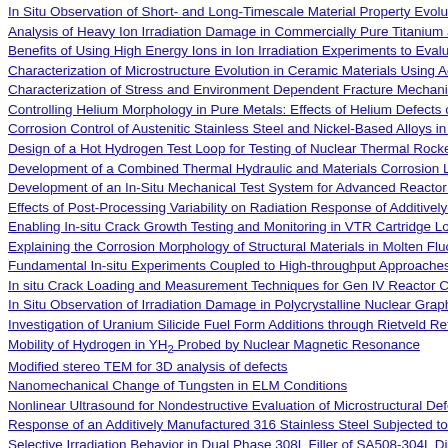In Situ Observation of Short- and Long-Timescale Material Property Evolution…
Analysis of Heavy Ion Irradiation Damage in Commercially Pure Titanium and T…
Benefits of Using High Energy Ions in Ion Irradiation Experiments to Evaluate W…
Characterization of Microstructure Evolution in Ceramic Materials Using Acoust…
Characterization of Stress and Environment Dependent Fracture Mechanisms of S…
Controlling Helium Morphology in Pure Metals: Effects of Helium Defects on D…
Corrosion Control of Austenitic Stainless Steel and Nickel-Based Alloys in Molte…
Design of a Hot Hydrogen Test Loop for Testing of Nuclear Thermal Rocket Elem…
Development of a Combined Thermal Hydraulic and Materials Corrosion Liquid-…
Development of an In-Situ Mechanical Test System for Advanced Reactor Coolan…
Effects of Post-Processing Variability on Radiation Response of Additively-Manu…
Enabling In-situ Crack Growth Testing and Monitoring in VTR Cartridge Loop B…
Explaining the Corrosion Morphology of Structural Materials in Molten Fluoride…
Fundamental In-situ Experiments Coupled to High-throughput Approaches to Un…
In situ Crack Loading and Measurement Techniques for Gen IV Reactor Coolant…
In Situ Observation of Irradiation Damage in Polycrystalline Nuclear Graphite
Investigation of Uranium Silicide Fuel Form Additions through Rietveld Refinem…
Mobility of Hydrogen in YH₂ Probed by Nuclear Magnetic Resonance
Modified stereo TEM for 3D analysis of defects
Nanomechanical Change of Tungsten in ELM Conditions
Nonlinear Ultrasound for Nondestructive Evaluation of Microstructural Defects
Response of an Additively Manufactured 316 Stainless Steel Subjected to High T…
Selective Irradiation Behavior in Dual Phase 308L Filler of SA508-304L Dissim…